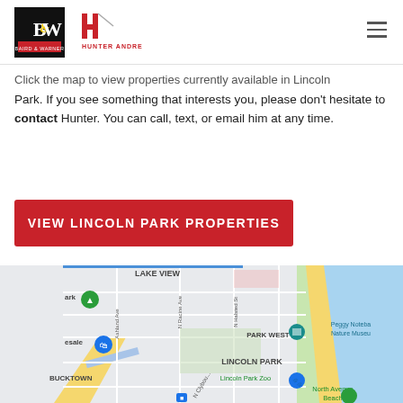Baird & Warner / Hunter Andre logo header
Click the map to view properties currently available in Lincoln Park. If you see something that interests you, please don't hesitate to contact Hunter. You can call, text, or email him at any time.
VIEW LINCOLN PARK PROPERTIES
[Figure (map): Google Maps view showing Lincoln Park neighborhood in Chicago, with labels for Lake View, Park West, Lincoln Park, Bucktown, Lincoln Park Zoo, Peggy Notebae Nature Museum, North Avenue Beach, and street names including N Racine Ave, N Halsted St, Ashland Ave, N Clybourn.]